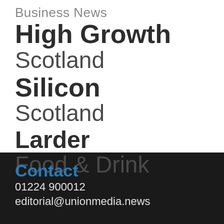Business News
High Growth Scotland
Silicon Scotland
Larder Food & Drink
Contact
01224 900012
editorial@unionmedia.news